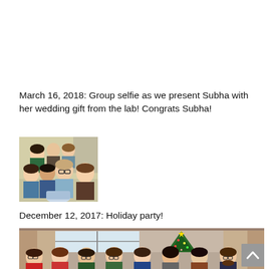March 16, 2018: Group selfie as we present Subha with her wedding gift from the lab! Congrats Subha!
[Figure (photo): Group selfie photo of lab members presenting a wedding gift]
December 12, 2017: Holiday party!
[Figure (photo): Group photo at holiday party with Christmas tree in background]